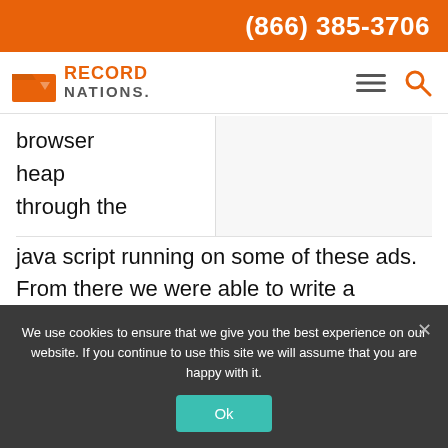(866) 385-3706
[Figure (logo): Record Nations logo with orange folder icon and company name]
browser
heap
through the
java script running on some of these ads. From there we were able to write a command telling the computer to back everything up to a shared drive that we had access to. After that, we could literally spin up the user's computer as if we were sitting at the desktop."
We use cookies to ensure that we give you the best experience on our website. If you continue to use this site we will assume that you are happy with it.